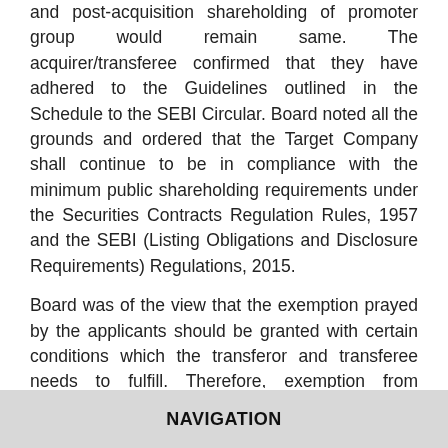and post-acquisition shareholding of promoter group would remain same. The acquirer/transferee confirmed that they have adhered to the Guidelines outlined in the Schedule to the SEBI Circular. Board noted all the grounds and ordered that the Target Company shall continue to be in compliance with the minimum public shareholding requirements under the Securities Contracts Regulation Rules, 1957 and the SEBI (Listing Obligations and Disclosure Requirements) Regulations, 2015.
Board was of the view that the exemption prayed by the applicants should be granted with certain conditions which the transferor and transferee needs to fulfill. Therefore, exemption from application of Section 3(2) was granted. [Proposed Acquisition of Shares and Voting Rights in Target Company: FDC Ltd.
NAVIGATION